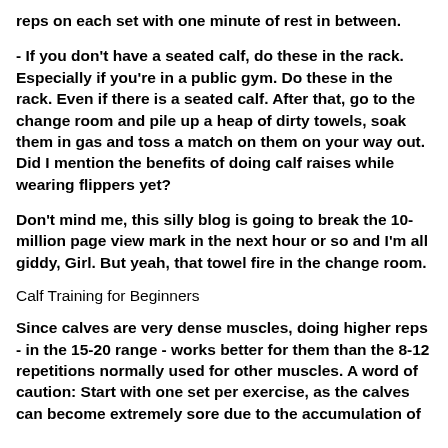reps on each set with one minute of rest in between.
- If you don't have a seated calf, do these in the rack. Especially if you're in a public gym. Do these in the rack. Even if there is a seated calf. After that, go to the change room and pile up a heap of dirty towels, soak them in gas and toss a match on them on your way out. Did I mention the benefits of doing calf raises while wearing flippers yet?
Don't mind me, this silly blog is going to break the 10-million page view mark in the next hour or so and I'm all giddy, Girl. But yeah, that towel fire in the change room.
Calf Training for Beginners
Since calves are very dense muscles, doing higher reps - in the 15-20 range - works better for them than the 8-12 repetitions normally used for other muscles. A word of caution: Start with one set per exercise, as the calves can become extremely sore due to the accumulation of